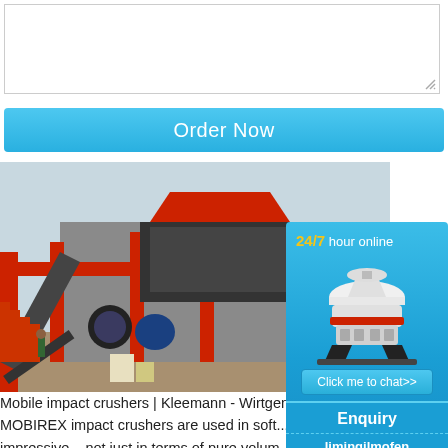[Figure (other): Textarea input box with resize handle in bottom right corner]
Order Now
[Figure (photo): Industrial mobile impact crusher / processing plant with red metal frame structure, conveyors, and machinery on a construction site]
Mobile impact crushers | Kleemann - Wirtgen Gro... Kleemann products. Mobile impact crusher... MOBIREX impact crushers are used in soft... natural stone and in recycling. The perform... is impressive – not just in terms of pure volum... focus today is on cost and environmental a... availability, versatility and, above all, the qu...
Read More
[Figure (illustration): Sidebar panel with 24/7 hour online text, cone crusher machine illustration, Click me to chat>> button, Enquiry section, and limingjlmofen text on blue gradient background]